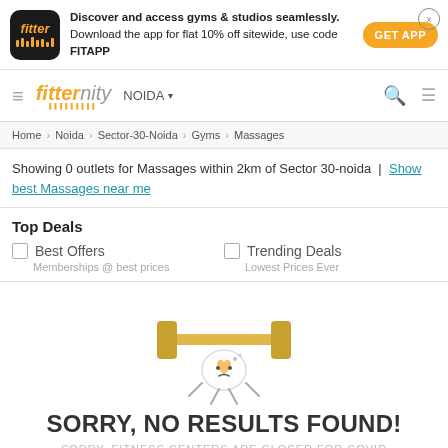[Figure (infographic): Fitter app banner with logo, promotional text, and GET APP button]
fitternity | NOIDA
Home › Noida › Sector-30-Noida › Gyms › Massages
Showing 0 outlets for Massages within 2km of Sector 30-noida | Show best Massages near me
Top Deals
Best Offers — Memberships @ best prices
Trending Deals — Lowest Prices Ever
[Figure (illustration): Sad fitness heart character holding dumbbells]
SORRY, NO RESULTS FOUND!
SORRY, FITNESS CENTERS ARE CLOSED FOR COVID